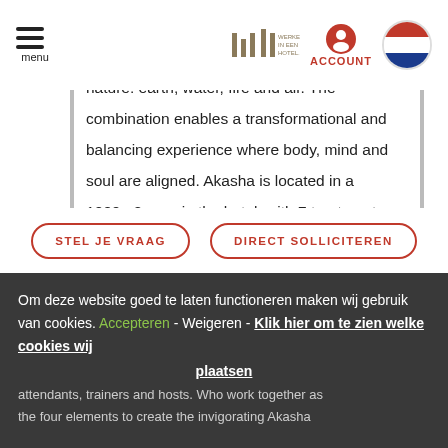menu | WERKEN IN EEN HOTEL.NL | ACCOUNT
The name Akasha reflects a core vision to harmoniously unite the four elements of nature: earth, water, fire and air. The combination enables a transformational and balancing experience where body, mind and soul are aligned. Akasha is located in a 1000m2 area in the hotel, with 7 treatment rooms, a pool, Watsu tub and private Hammam. The serene environment is ideal for our guests to relax and
STEL JE VRAAG
DIRECT SOLLICITEREN
Om deze website goed te laten functioneren maken wij gebruik van cookies. Accepteren - Weigeren - Klik hier om te zien welke cookies wij plaatsen
attendants, trainers and hosts. Who work together as
the four elements to create the invigorating Akasha